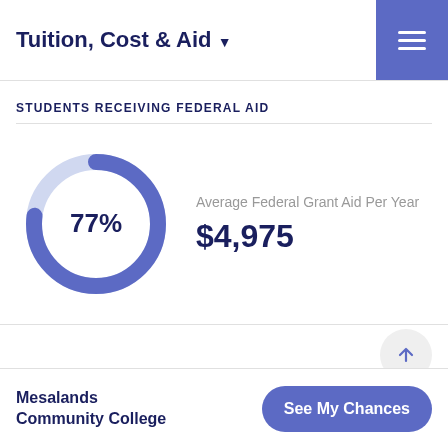Tuition, Cost & Aid
STUDENTS RECEIVING FEDERAL AID
[Figure (donut-chart): Students Receiving Federal Aid]
Average Federal Grant Aid Per Year
$4,975
Mesalands Community College
See My Chances